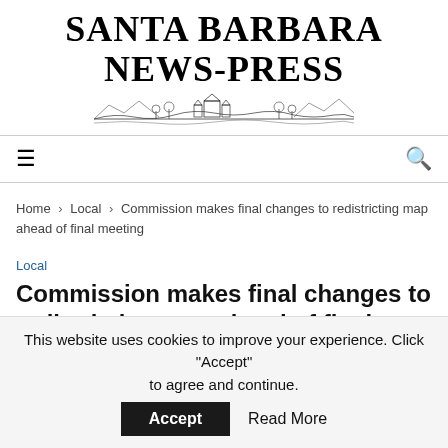[Figure (logo): Santa Barbara News-Press masthead logo with serif text and illustrated mission/coastline vignette below]
≡   🔍
Home › Local › Commission makes final changes to redistricting map ahead of final meeting
Local
Commission makes final changes to redistricting map ahead of final meeting
by Forrest McFarland
This website uses cookies to improve your experience. Click "Accept" to agree and continue.   Accept   Read More